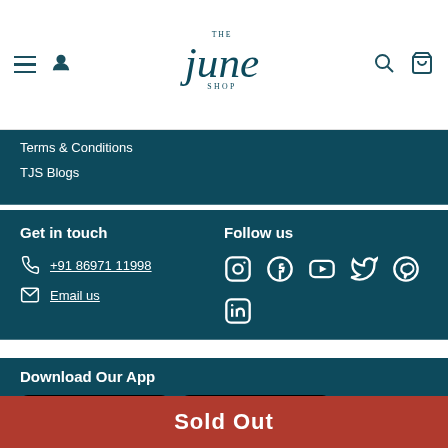[Figure (logo): The June Shop logo — stylized 'june' text with 'THE' above and 'SHOP' below]
Terms & Conditions
TJS Blogs
Get in touch
+91 86971 11998
Email us
Follow us
[Figure (infographic): Social media icons: Instagram, Facebook, YouTube, Twitter, Pinterest, LinkedIn]
Download Our App
[Figure (infographic): App Store and Google Play download buttons]
Sold Out